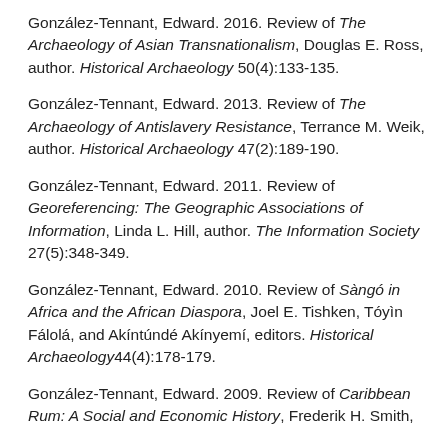González-Tennant, Edward. 2016. Review of The Archaeology of Asian Transnationalism, Douglas E. Ross, author. Historical Archaeology 50(4):133-135.
González-Tennant, Edward. 2013. Review of The Archaeology of Antislavery Resistance, Terrance M. Weik, author. Historical Archaeology 47(2):189-190.
González-Tennant, Edward. 2011. Review of Georeferencing: The Geographic Associations of Information, Linda L. Hill, author. The Information Society 27(5):348-349.
González-Tennant, Edward. 2010. Review of Sàngó in Africa and the African Diaspora, Joel E. Tishken, Tóyìn Fálolá, and Akíntúndé Akínyemí, editors. Historical Archaeology44(4):178-179.
González-Tennant, Edward. 2009. Review of Caribbean Rum: A Social and Economic History, Frederik H. Smith,